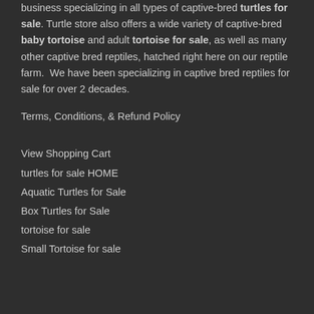business specializing in all types of captive-bred turtles for sale. Turtle store also offers a wide variety of captive-bred baby tortoise and adult tortoise for sale, as well as many other captive bred reptiles, hatched right here on our reptile farm. We have been specializing in captive bred reptiles for sale for over 2 decades.
Terms, Conditions, & Refund Policy
View Shopping Cart
turtles for sale HOME
Aquatic Turtles for Sale
Box Turtles for Sale
tortoise for sale
Small Tortoise for sale